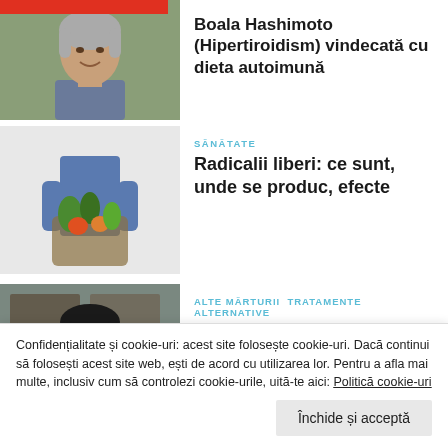[Figure (photo): Portrait of older woman with grey hair smiling, outdoors background]
Boala Hashimoto (Hipertiroidism) vindecată cu dieta autoimună
[Figure (photo): Person holding a wire basket full of vegetables and fruits]
SĂNĂTATE
Radicalii liberi: ce sunt, unde se produc, efecte
[Figure (photo): Young woman with glasses and dark hair in front of a wooden door]
ALTE MĂRTURII TRATAMENTE ALTERNATIVE
Hashimoto, boala țesutului
Confidențialitate și cookie-uri: acest site folosește cookie-uri. Dacă continui să folosești acest site web, ești de acord cu utilizarea lor. Pentru a afla mai multe, inclusiv cum să controlezi cookie-urile, uită-te aici: Politică cookie-uri
Închide și acceptă
[Figure (photo): Partial image at bottom of page, dark tones]
echilibrare nutrițională: